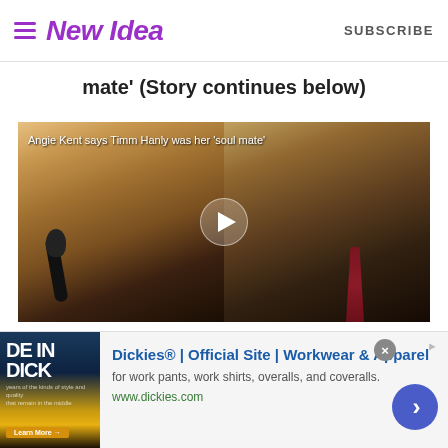New Idea | SUBSCRIBE
mate' (Story continues below)
[Figure (screenshot): Video thumbnail showing two people side by side: a blonde woman wearing headphones and speaking into a microphone (left), and a man with long hair wearing a suit and tie (right). A play button is centered over the image. Caption text reads: 'Angie Kent says Timm Hanly was her soul mate']
Carlin, on the other hand, seemed bothered by Angie's
[Figure (other): Advertisement for Dickies® Official Site - Workwear & Apparel. Text: 'for work pants, work shirts, overalls, and coveralls. www.dickies.com'. Ad image shows 'DE IN DICK' text. Contains close button and forward arrow button.]